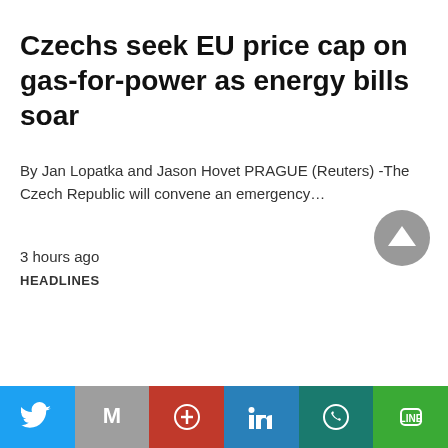Czechs seek EU price cap on gas-for-power as energy bills soar
By Jan Lopatka and Jason Hovet PRAGUE (Reuters) -The Czech Republic will convene an emergency…
3 hours ago
HEADLINES